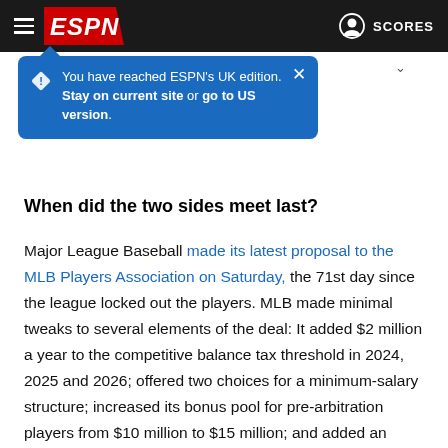ESPN navigation bar with hamburger menu, ESPN logo, and SCORES link
[Figure (screenshot): Blue notification popup: 'You have reached ESPN's UK edition. Stay on current site or go to US version.' with a warning diamond icon and close X button]
When did the two sides meet last?
Major League Baseball made its latest proposal to the MLB Players Association on Saturday, the 71st day since the league locked out the players. MLB made minimal tweaks to several elements of the deal: It added $2 million a year to the competitive balance tax threshold in 2024, 2025 and 2026; offered two choices for a minimum-salary structure; increased its bonus pool for pre-arbitration players from $10 million to $15 million; and added an opportunity for teams to earn two draft picks by cultivating high-achieving players who spend a full season on a club's roster.